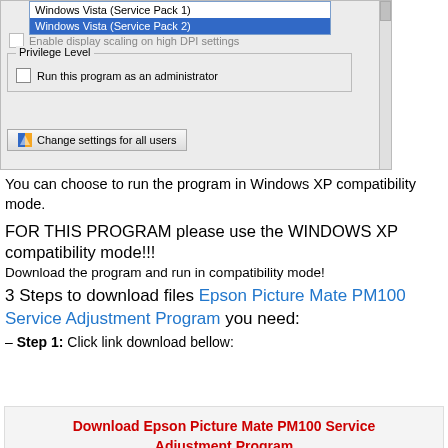[Figure (screenshot): Windows compatibility properties dialog showing a dropdown with 'Windows Vista (Service Pack 1)' and 'Windows Vista (Service Pack 2)' selected, a 'Disable display scaling on high DPI settings' checkbox, a 'Privilege Level' group box with 'Run this program as an administrator' checkbox, and a 'Change settings for all users' button with shield icon.]
You can choose to run the program in Windows XP compatibility mode.
FOR THIS PROGRAM please use the WINDOWS XP compatibility mode!!!
Download the program and run in compatibility mode!
3 Steps to download files Epson Picture Mate PM100 Service Adjustment Program you need:
– Step 1: Click link download bellow:
Download Epson Picture Mate PM100 Service Adjustment Program